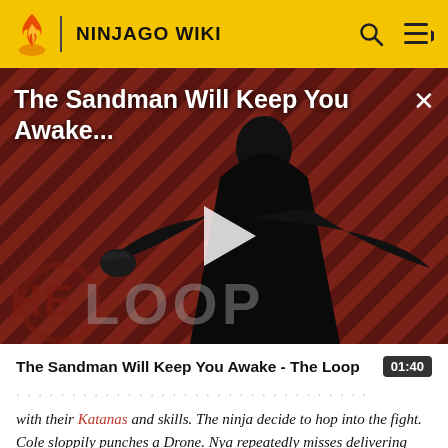NINJAGO WIKI
[Figure (screenshot): Video thumbnail for 'The Sandman Will Keep You Awake - The Loop' with a dark figure in black cape on a red diagonal striped background, showing a play button overlay and 'THE LOOP' watermark. Title text overlaid at top: 'The Sandman Will Keep You Awake...' with a close (X) button.]
The Sandman Will Keep You Awake - The Loop
with their Katanas and skills. The ninja decide to hop into the fight. Cole sloppily punches a Drone. Nya repeatedly misses delivering hits on her Drone. Kai jumps onto a